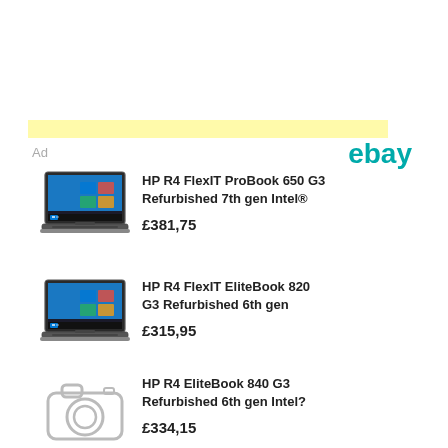[Figure (other): Yellow highlighted bar (ad banner placeholder)]
Ad
[Figure (logo): eBay logo in teal/cyan color]
[Figure (photo): HP laptop showing Windows 10 screen]
HP R4 FlexIT ProBook 650 G3 Refurbished 7th gen Intel®
£381,75
[Figure (photo): HP laptop showing Windows 10 screen]
HP R4 FlexIT EliteBook 820 G3 Refurbished 6th gen
£315,95
[Figure (photo): Camera placeholder icon (no image available)]
HP R4 EliteBook 840 G3 Refurbished 6th gen Intel?
£334,15